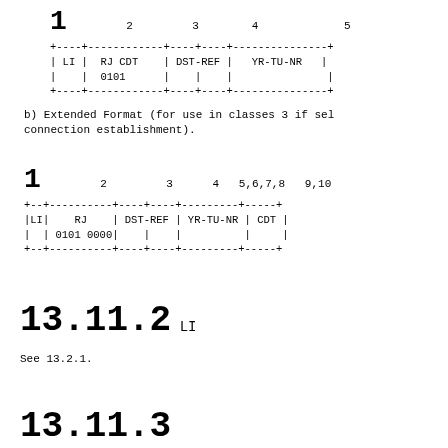[Figure (schematic): Basic format diagram showing columns numbered 1,2,3,4,5 with fields LI, RJ CDT 0101, DST-REF, YR-TU-NR in a box-drawing table]
b) Extended Format (for use in classes 3 if sel connection establishment).
[Figure (schematic): Extended format diagram showing columns numbered 1,2,3,4,5,6,7,8,9,10 with fields LI, RJ 0101 0000, DST-REF, YR-TU-NR, CDT in a box-drawing table]
13.11.2 LI
See 13.2.1.
13.11.3